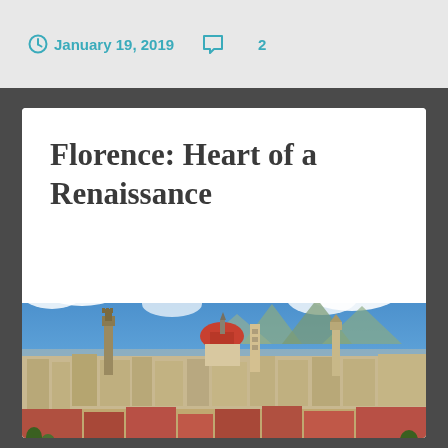January 19, 2019  2
Florence: Heart of a Renaissance
[Figure (photo): Panoramic cityscape of Florence, Italy, showing the skyline with the Florence Cathedral dome (Duomo), Palazzo Vecchio tower, and Santa Croce bell tower against a blue sky with white clouds, with the Arno river and city buildings in the foreground.]